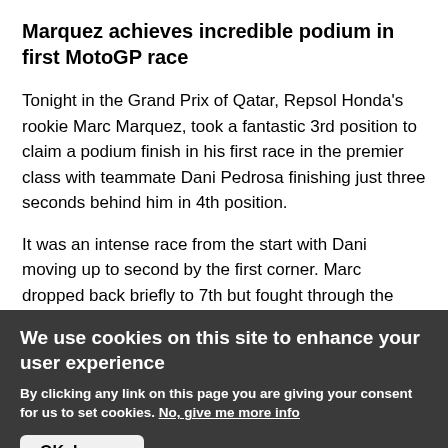Marquez achieves incredible podium in first MotoGP race
Tonight in the Grand Prix of Qatar, Repsol Honda's rookie Marc Marquez, took a fantastic 3rd position to claim a podium finish in his first race in the premier class with teammate Dani Pedrosa finishing just three seconds behind him in 4th position.
It was an intense race from the start with Dani moving up to second by the first corner. Marc dropped back briefly to 7th but fought through the pack and up to 4th
We use cookies on this site to enhance your user experience
By clicking any link on this page you are giving your consent for us to set cookies. No, give me more info
OK, I agree